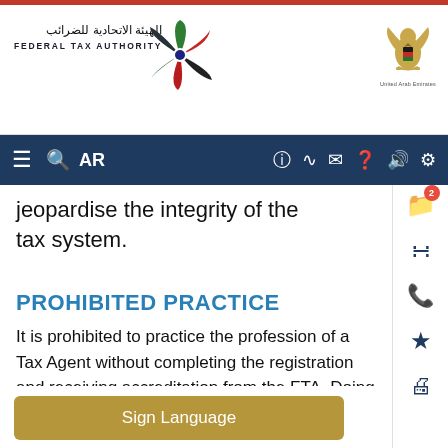Federal Tax Authority | الهيئة الاتحادية للضرائب
jeopardise the integrity of the tax system.
PROHIBITED PRACTICE
It is prohibited to practice the profession of a Tax Agent without completing the registration and receiving accreditation from the FTA. Doing so constitutes a legal offense.
Sign Language